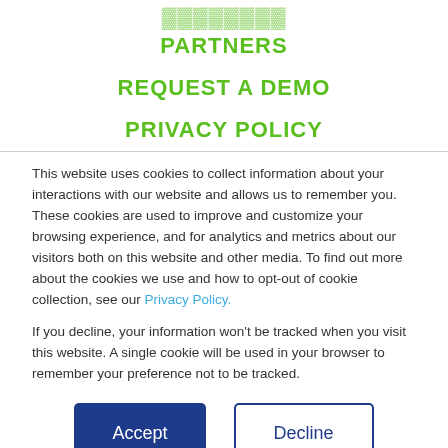PARTNERS
REQUEST A DEMO
PRIVACY POLICY
This website uses cookies to collect information about your interactions with our website and allows us to remember you. These cookies are used to improve and customize your browsing experience, and for analytics and metrics about our visitors both on this website and other media. To find out more about the cookies we use and how to opt-out of cookie collection, see our Privacy Policy.
If you decline, your information won't be tracked when you visit this website. A single cookie will be used in your browser to remember your preference not to be tracked.